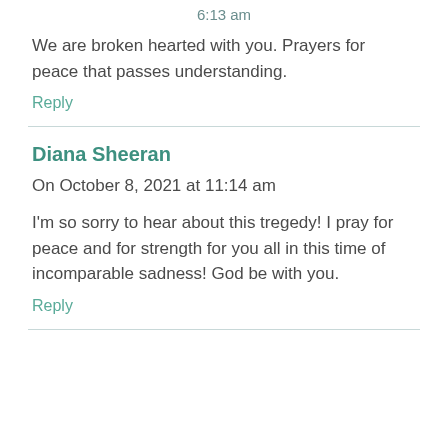6:13 am
We are broken hearted with you. Prayers for peace that passes understanding.
Reply
Diana Sheeran  On October 8, 2021 at 11:14 am
I'm so sorry to hear about this tregedy! I pray for peace and for strength for you all in this time of incomparable sadness! God be with you.
Reply